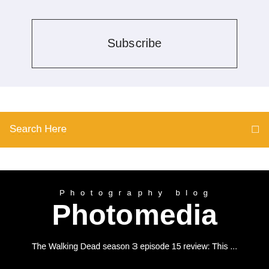Subscribe
Search Here
Photography blog
Photomedia
The Walking Dead season 3 episode 15 review: This ...